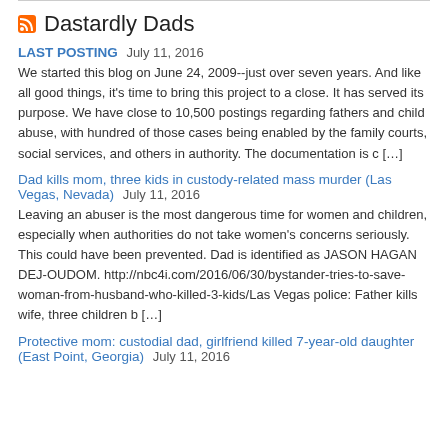Dastardly Dads
LAST POSTING July 11, 2016
We started this blog on June 24, 2009--just over seven years. And like all good things, it's time to bring this project to a close. It has served its purpose. We have close to 10,500 postings regarding fathers and child abuse, with hundred of those cases being enabled by the family courts, social services, and others in authority. The documentation is c […]
Dad kills mom, three kids in custody-related mass murder (Las Vegas, Nevada) July 11, 2016
Leaving an abuser is the most dangerous time for women and children, especially when authorities do not take women's concerns seriously. This could have been prevented. Dad is identified as JASON HAGAN DEJ-OUDOM. http://nbc4i.com/2016/06/30/bystander-tries-to-save-woman-from-husband-who-killed-3-kids/Las Vegas police: Father kills wife, three children b […]
Protective mom: custodial dad, girlfriend killed 7-year-old daughter (East Point, Georgia) July 11, 2016